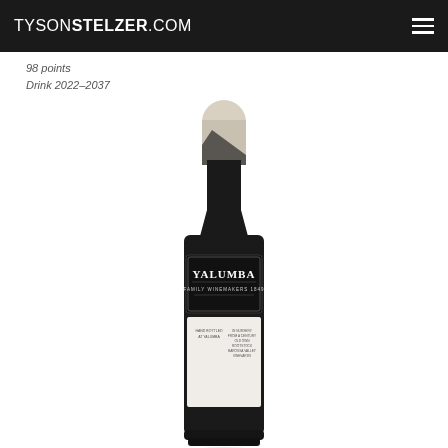TYSONSTELZER.COM
98 points
Drink 2022–2037
[Figure (photo): A bottle of Yalumba wine with a cream-colored capsule, dark glass bottle, and a black label reading 'YALUMBA FAMILY WINEMAKERS 1849', with additional text and decorative elements on a white lower label portion.]